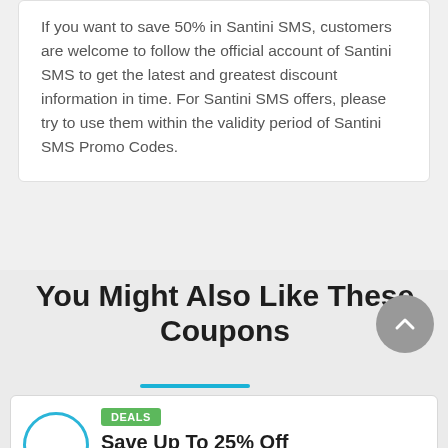If you want to save 50% in Santini SMS, customers are welcome to follow the official account of Santini SMS to get the latest and greatest discount information in time. For Santini SMS offers, please try to use them within the validity period of Santini SMS Promo Codes.
You Might Also Like These Coupons
DEALS
Save Up To 25% Off